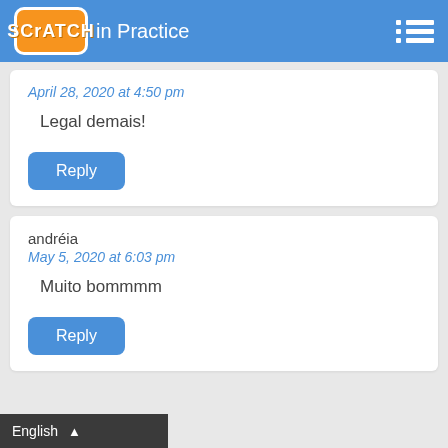Scratch in Practice
April 28, 2020 at 4:50 pm
Legal demais!
Reply
andréia
May 5, 2020 at 6:03 pm
Muito bommmm
Reply
English